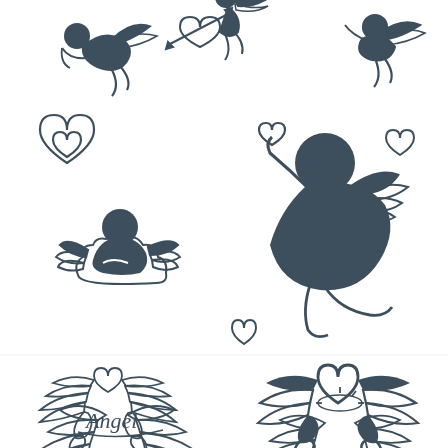[Figure (illustration): A collection of angel and cherub outline illustrations in dark blue-grey ink on white background. Top row: three flying cupid/cherub figures with wings, one holding a bow, one with a heart and arrow. Middle section: double nested heart outline (left), a cherub resting on a cloud with wings (center-left), a larger flying cherub reaching upward holding a heart (center-right), a small heart outline (right), and a small heart outline below the large cherub. Bottom half: two pairs of angel wings with heart motifs (top row of bottom section), and two more pairs of angel wings — left pair with cursive 'Angel' text, right pair with a halo above them (bottom row).]